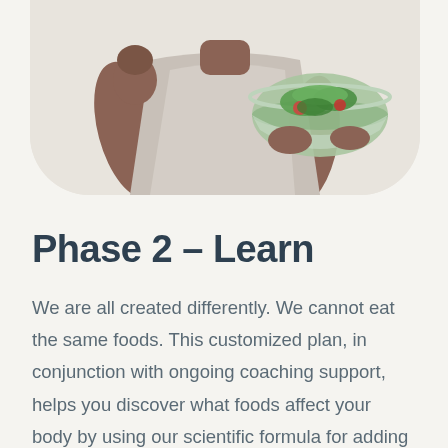[Figure (photo): Person in white tank top holding a glass bowl of fresh salad with greens and vegetables, from the chest down, on a beige rounded background.]
Phase 2 – Learn
We are all created differently. We cannot eat the same foods. This customized plan, in conjunction with ongoing coaching support, helps you discover what foods affect your body by using our scientific formula for adding back foods.